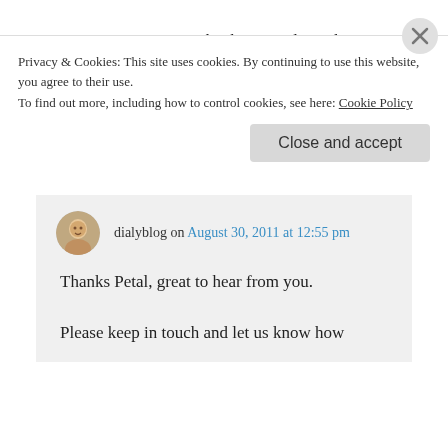again thank you and i wish you continued good health
Like
Reply
dialyblog on August 30, 2011 at 12:55 pm
Thanks Petal, great to hear from you.
Please keep in touch and let us know how
Privacy & Cookies: This site uses cookies. By continuing to use this website, you agree to their use.
To find out more, including how to control cookies, see here: Cookie Policy
Close and accept